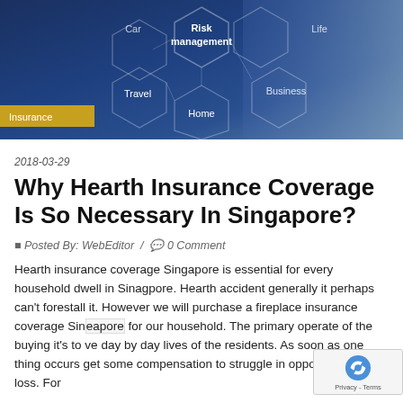[Figure (photo): Hero banner image showing a hand pointing at hexagonal network diagram with labels: Car, Risk management, Life, Travel, Business, Home, Insurance on a dark blue background. Yellow 'Insurance' badge at bottom left.]
2018-03-29
Why Hearth Insurance Coverage Is So Necessary In Singapore?
Posted By: WebEditor / 0 Comment
Hearth insurance coverage Singapore is essential for every household dwell in Sinagpore. Hearth accident generally it perhaps can't forestall it. However we will purchase a fireplace insurance coverage Singapore for our household. The primary operate of the buying it's to ve day by day lives of the residents. As soon as one thing occurs get some compensation to struggle in opposition to the loss. For